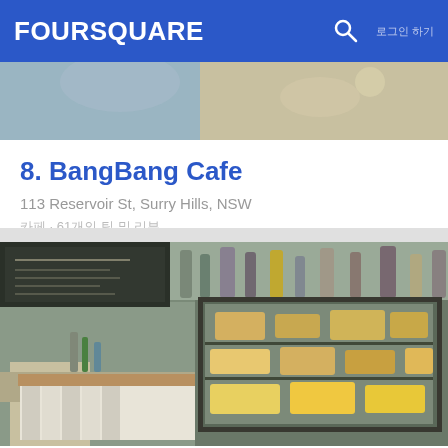FOURSQUARE
[Figure (photo): Partial photo at top of BangBang Cafe interior]
8. BangBang Cafe
113 Reservoir St, Surry Hills, NSW
카페 · 61개의 팁 및 리뷰
[Figure (photo): Interior photo of Baffi & Mo cafe showing a glass display case with food items, counter with beverages, and chalkboard menu in background]
9. Baffi & Mo
94 Redfern St, Redfern, NSW
호주 커피 숍 · 34개의 팁 및 리뷰